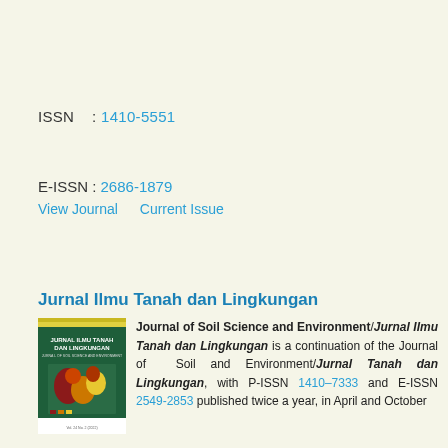ISSN    : 1410-5551
E-ISSN : 2686-1879
View Journal    Current Issue
Jurnal Ilmu Tanah dan Lingkungan
[Figure (illustration): Cover image of the Jurnal Ilmu Tanah dan Lingkungan journal, showing a dark green cover with yellow stripe at top, journal title in white text, and a colored soil/land map graphic.]
Journal of Soil Science and Environment/Jurnal Ilmu Tanah dan Lingkungan is a continuation of the Journal of Soil and Environment/Jurnal Tanah dan Lingkungan, with P-ISSN 1410–7333 and E-ISSN 2549-2853 published twice a year, in April and October